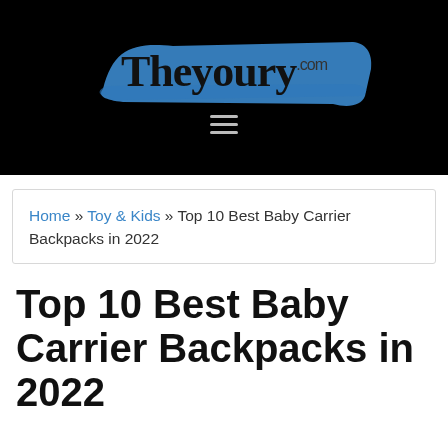Theyoury.com
Home » Toy & Kids » Top 10 Best Baby Carrier Backpacks in 2022
Top 10 Best Baby Carrier Backpacks in 2022